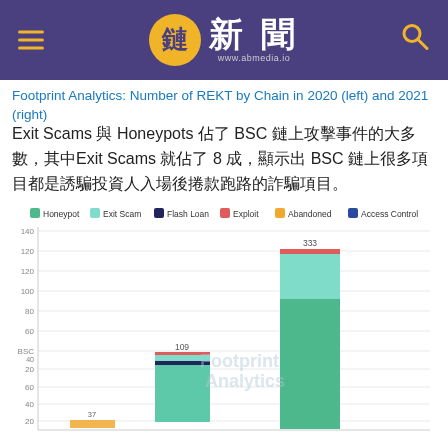鏈新聞 www.abmedia.io
Footprint Analytics: Number of REKT by Chain in 2020 (left) and 2021 (right)
Exit Scams 與 Honeypots 佔了 BSC 鏈上攻擊事件的大多數，其中Exit Scams 就佔了 8 成，顯示出 BSC 鏈上很多項目都是誘騙投資人入場後捲款跑路的詐騙項目。
[Figure (stacked-bar-chart): Number of REKT by Chain in 2020 (left) and 2021 (right)]